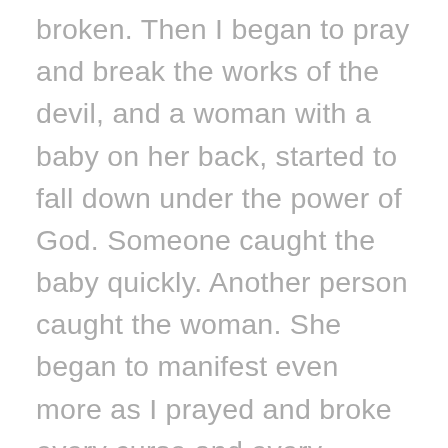broken. Then I began to pray and break the works of the devil, and a woman with a baby on her back, started to fall down under the power of God. Someone caught the baby quickly. Another person caught the woman. She began to manifest even more as I prayed and broke every curse and every sickness. Jesus began to break through. After I finished praying, I had everyone check their body. Many began to do things they could not do before. It was incredible! One woman had pain in her leg and blurry eye vision. After we prayed, she could see better and all the pain was gone! The woman who